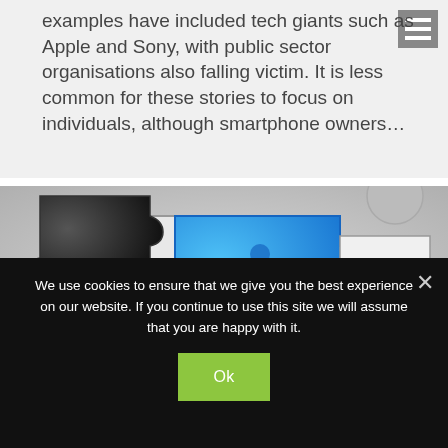examples have included tech giants such as Apple and Sony, with public sector organisations also falling victim. It is less common for these stories to focus on individuals, although smartphone owners...
[Figure (illustration): A blue puzzle piece among other white and black puzzle pieces on a gray background]
We use cookies to ensure that we give you the best experience on our website. If you continue to use this site we will assume that you are happy with it.